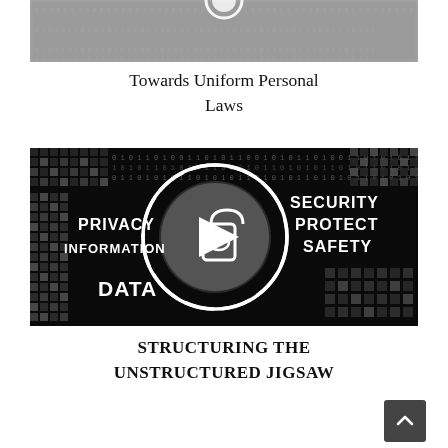[Figure (photo): Grayscale blurry background image with binary/text pattern, top portion cropped]
Towards Uniform Personal Laws
[Figure (photo): Black and white digital security concept image with words PRIVACY, INFORMATION, DATA, SECURITY, PROTECT, SAFETY around a central lock/eye icon with play button]
STRUCTURING THE UNSTRUCTURED JIGSAW